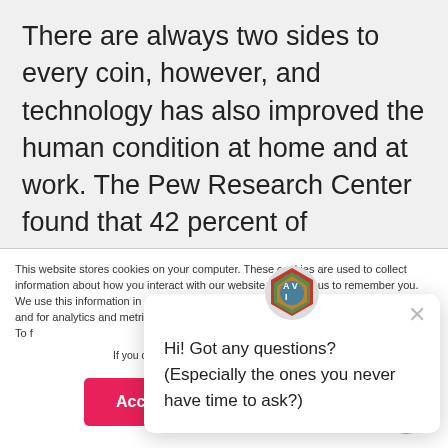There are always two sides to every coin, however, and technology has also improved the human condition at home and at work. The Pew Research Center found that 42 percent of Americans believe technology brought the biggest improvements to their lives over the past
This website stores cookies on your computer. These cookies are used to collect information about how you interact with our website and allow us to remember you. We use this information in order to improve and customize your browsing experience and for analytics and metrics about our visitors both on this website and other media. To find out more about the cookies we use, see our Privacy Policy.
If you decline, your information won't be tracked when you visit this website. A single cookie will be used in your browser to remember your preference not to be tracked.
Hi! Got any questions? (Especially the ones you never have time to ask?)